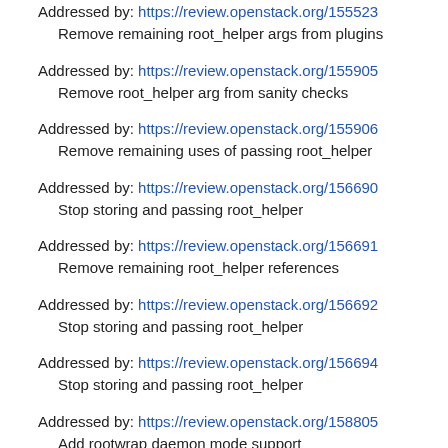Addressed by: https://review.openstack.org/155523
    Remove remaining root_helper args from plugins
Addressed by: https://review.openstack.org/155905
    Remove root_helper arg from sanity checks
Addressed by: https://review.openstack.org/155906
    Remove remaining uses of passing root_helper
Addressed by: https://review.openstack.org/156690
    Stop storing and passing root_helper
Addressed by: https://review.openstack.org/156691
    Remove remaining root_helper references
Addressed by: https://review.openstack.org/156692
    Stop storing and passing root_helper
Addressed by: https://review.openstack.org/156694
    Stop storing and passing root_helper
Addressed by: https://review.openstack.org/158805
    Add rootwrap daemon mode support
Gerrit topic: https://review.openstack.org/#q,topic:rootwrap-daemon-mode,n,z